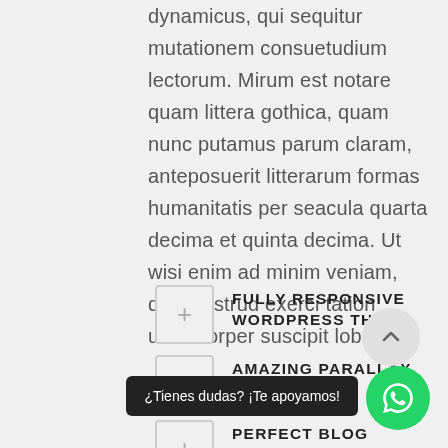dynamicus, qui sequitur mutationem consuetudium lectorum. Mirum est notare quam littera gothica, quam nunc putamus parum claram, anteposuerit litterarum formas humanitatis per seacula quarta decima et quinta decima. Ut wisi enim ad minim veniam, quis nostrud exerci tation ullamcorper suscipit lobortis.
FULLY RESPONSIVE WORDPRESS THEME
AMAZING PARALLAX SCROLL PAGE
PERFECT BLOG PLATFORM
¿Tienes dudas? ¡Te apoyamos!